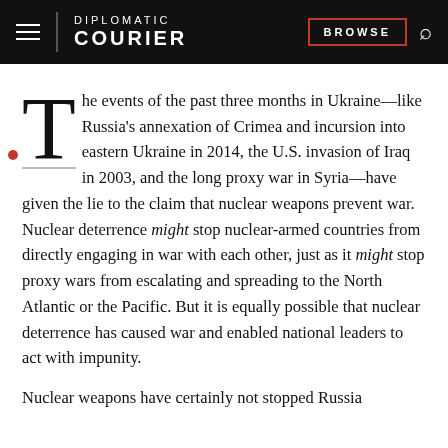DIPLOMATIC COURIER | BROWSE
The events of the past three months in Ukraine—like Russia's annexation of Crimea and incursion into eastern Ukraine in 2014, the U.S. invasion of Iraq in 2003, and the long proxy war in Syria—have given the lie to the claim that nuclear weapons prevent war. Nuclear deterrence might stop nuclear-armed countries from directly engaging in war with each other, just as it might stop proxy wars from escalating and spreading to the North Atlantic or the Pacific. But it is equally possible that nuclear deterrence has caused war and enabled national leaders to act with impunity.
Nuclear weapons have certainly not stopped Russia